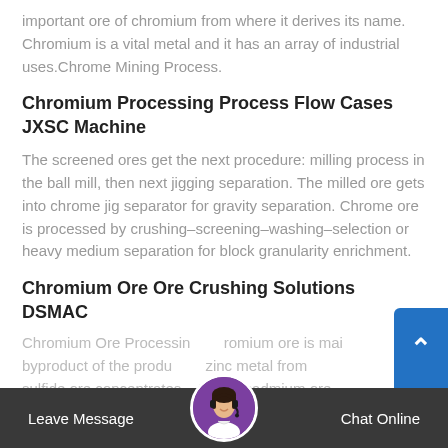important ore of chromium from where it derives its name. Chromium is a vital metal and it has an array of industrial uses.Chrome Mining Process.
Chromium Processing Process Flow Cases JXSC Machine
The screened ores get the next procedure: milling process in the ball mill, then next jigging separation. The milled ore gets into chrome jig separator for gravity separation. Chrome ore is processed by crushing–screening–washing–selection or heavy medium separation for block granularity enrichment.
Chromium Ore Ore Crushing Solutions DSMAC
Chromium Ore Processing. Chromium ore is main byproduct of the production of zinc metal from sulfide ore concentrates. A typical cadmium ore